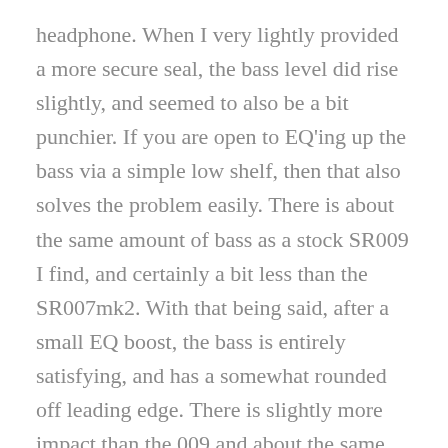headphone. When I very lightly provided a more secure seal, the bass level did rise slightly, and seemed to also be a bit punchier. If you are open to EQ'ing up the bass via a simple low shelf, then that also solves the problem easily. There is about the same amount of bass as a stock SR009 I find, and certainly a bit less than the SR007mk2. With that being said, after a small EQ boost, the bass is entirely satisfying, and has a somewhat rounded off leading edge. There is slightly more impact than the 009 and about the same amount as the 007. Overall, I think people's perception of the bass may differ depending on the clamp level they experience from the headphones, and the seal they are able to get with their head shape and the ear pads , but the overall bass quality is actually very good and can be tweaked